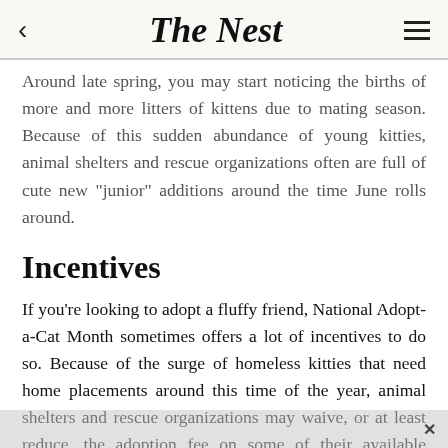The Nest
Around late spring, you may start noticing the births of more and more litters of kittens due to mating season. Because of this sudden abundance of young kitties, animal shelters and rescue organizations often are full of cute new "junior" additions around the time June rolls around.
Incentives
If you're looking to adopt a fluffy friend, National Adopt-a-Cat Month sometimes offers a lot of incentives to do so. Because of the surge of homeless kitties that need home placements around this time of the year, animal shelters and rescue organizations may waive, or at least reduce, the adoption fee on some of their available animals, especially if the cuties are on the senior side.